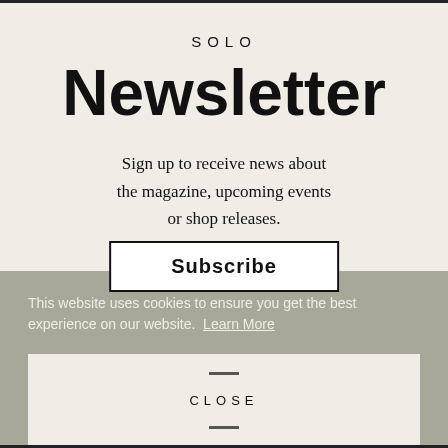SOLO
Newsletter
Sign up to receive news about the magazine, upcoming events or shop releases.
This website uses cookies to ensure you get the best experience on our website.  Learn More
Subscribe
CLOSE